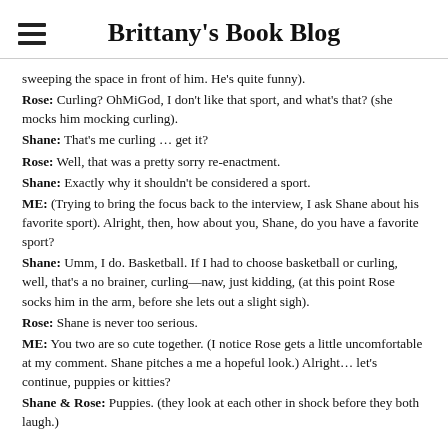Brittany's Book Blog
sweeping the space in front of him. He's quite funny).
Rose: Curling? OhMiGod, I don't like that sport, and what's that? (she mocks him mocking curling).
Shane: That's me curling … get it?
Rose: Well, that was a pretty sorry re-enactment.
Shane: Exactly why it shouldn't be considered a sport.
ME: (Trying to bring the focus back to the interview, I ask Shane about his favorite sport). Alright, then, how about you, Shane, do you have a favorite sport?
Shane: Umm, I do. Basketball. If I had to choose basketball or curling, well, that's a no brainer, curling—naw, just kidding, (at this point Rose socks him in the arm, before she lets out a slight sigh).
Rose: Shane is never too serious.
ME: You two are so cute together. (I notice Rose gets a little uncomfortable at my comment. Shane pitches a me a hopeful look.) Alright… let's continue, puppies or kitties?
Shane & Rose: Puppies. (they look at each other in shock before they both laugh.)